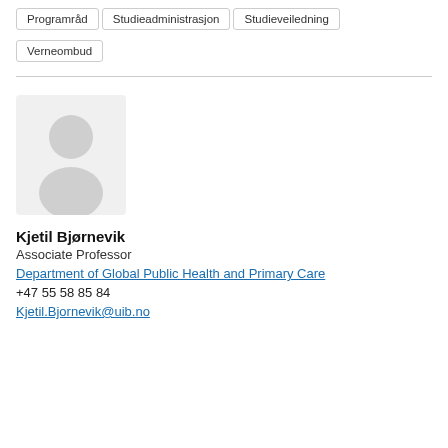Programråd
Studieadministrasjon
Studieveiledning
Verneombud
[Figure (illustration): Generic person placeholder avatar icon in light grey, showing a silhouette of a person with a round head and shoulders]
Kjetil Bjørnevik
Associate Professor
Department of Global Public Health and Primary Care
+47 55 58 85 84
Kjetil.Bjornevik@uib.no